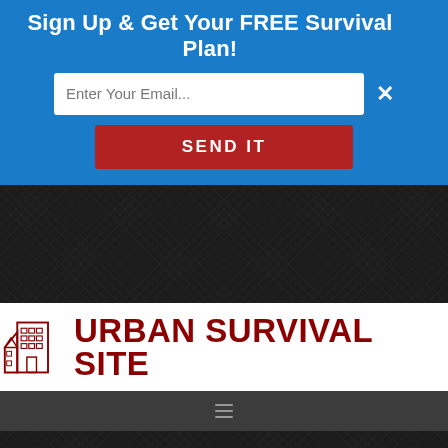Sign Up & Get Your FREE Survival Plan!
Enter Your Email...
SEND IT
[Figure (screenshot): Dark textured background area (top)]
[Figure (logo): Urban Survival Site logo with building icon and red text]
[Figure (screenshot): Gray navigation bar with hamburger menu icon]
[Figure (screenshot): Dark textured background area (bottom)]
[Figure (screenshot): Advertisement banner: circular logo, checkmark, In-store shopping text, blue arrow diamond]